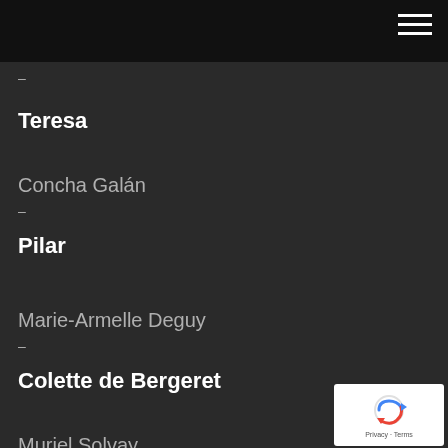–
Teresa
Concha Galán
–
Pilar
Marie-Armelle Deguy
–
Colette de Bergeret
Muriel Solvay